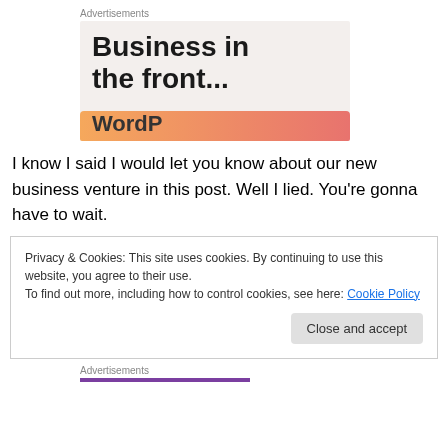Advertisements
[Figure (illustration): Advertisement banner with text 'Business in the front...' on a light beige background with an orange-pink gradient bar at the bottom showing partial text 'WordP']
I know I said I would let you know about our new business venture in this post. Well I lied. You're gonna have to wait.
Privacy & Cookies: This site uses cookies. By continuing to use this website, you agree to their use.
To find out more, including how to control cookies, see here: Cookie Policy
Close and accept
Advertisements